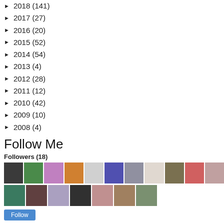► 2018 (141)
► 2017 (27)
► 2016 (20)
► 2015 (52)
► 2014 (54)
► 2013 (4)
► 2012 (28)
► 2011 (12)
► 2010 (42)
► 2009 (10)
► 2008 (4)
Follow Me
Followers (18)
[Figure (photo): Grid of 18 follower avatar photos in two rows]
Follow